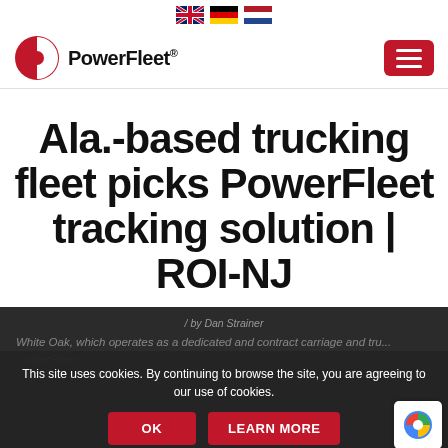[Figure (logo): Three country flag icons (UK, Germany, Netherlands) centered at top]
[Figure (logo): PowerFleet logo with circular red/white icon and bold wordmark, plus hamburger menu button]
Ala.-based trucking fleet picks PowerFleet tracking solution | ROI-NJ
/ by Dan Strainer
White Oak, which operates as a dedicated and contract carriage and tru... ...PowerFleet
This site uses cookies. By continuing to browse the site, you are agreeing to our use of cookies.
OK   LEARN MORE